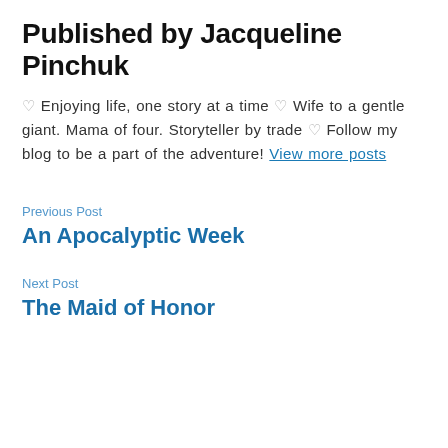Published by Jacqueline Pinchuk
♡ Enjoying life, one story at a time ♡ Wife to a gentle giant. Mama of four. Storyteller by trade ♡ Follow my blog to be a part of the adventure! View more posts
Previous Post
An Apocalyptic Week
Next Post
The Maid of Honor